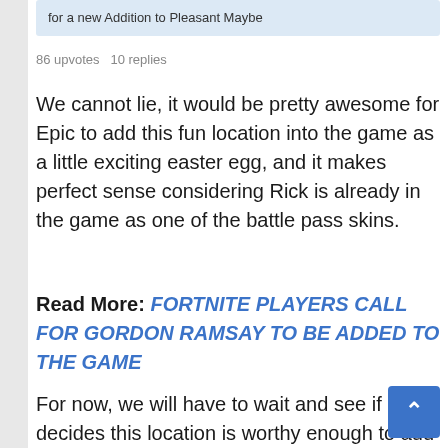for a new Addition to Pleasant Maybe
86 upvotes  10 replies
We cannot lie, it would be pretty awesome for Epic to add this fun location into the game as a little exciting easter egg, and it makes perfect sense considering Rick is already in the game as one of the battle pass skins.
Read More: FORTNITE PLAYERS CALL FOR GORDON RAMSAY TO BE ADDED TO THE GAME
For now, we will have to wait and see if Epic decides this location is worthy enough to add into their game this season, would be an amazing addition if it does pan out!